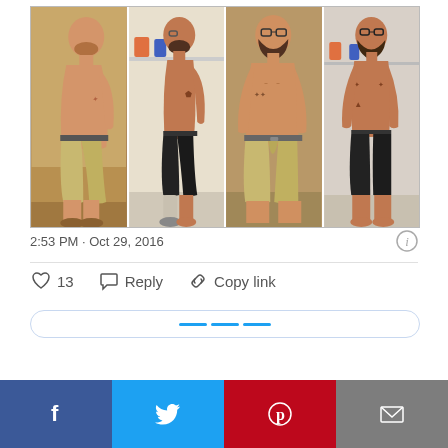[Figure (photo): Four side-by-side before/after photos of a man showing body transformation. Two photos on left show side and front views at heavier weight; two photos on right show side and front views at lighter weight.]
2:53 PM · Oct 29, 2016
♡ 13   Reply   Copy link
[Figure (infographic): Social share bar with Facebook, Twitter, Pinterest, and email buttons]